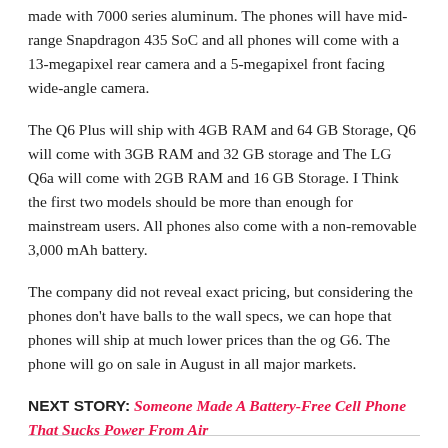made with 7000 series aluminum. The phones will have mid-range Snapdragon 435 SoC and all phones will come with a 13-megapixel rear camera and a 5-megapixel front facing wide-angle camera.
The Q6 Plus will ship with 4GB RAM and 64 GB Storage, Q6 will come with 3GB RAM and 32 GB storage and The LG Q6a will come with 2GB RAM and 16 GB Storage. I Think the first two models should be more than enough for mainstream users. All phones also come with a non-removable 3,000 mAh battery.
The company did not reveal exact pricing, but considering the phones don’t have balls to the wall specs, we can hope that phones will ship at much lower prices than the og G6. The phone will go on sale in August in all major markets.
NEXT STORY: Someone Made A Battery-Free Cell Phone That Sucks Power From Air